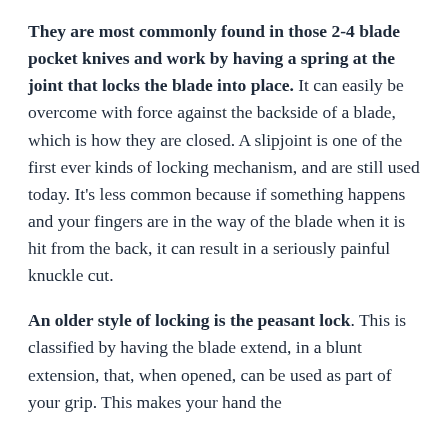They are most commonly found in those 2-4 blade pocket knives and work by having a spring at the joint that locks the blade into place. It can easily be overcome with force against the backside of a blade, which is how they are closed. A slipjoint is one of the first ever kinds of locking mechanism, and are still used today. It's less common because if something happens and your fingers are in the way of the blade when it is hit from the back, it can result in a seriously painful knuckle cut.
An older style of locking is the peasant lock. This is classified by having the blade extend, in a blunt extension, that, when opened, can be used as part of your grip. This makes your hand the